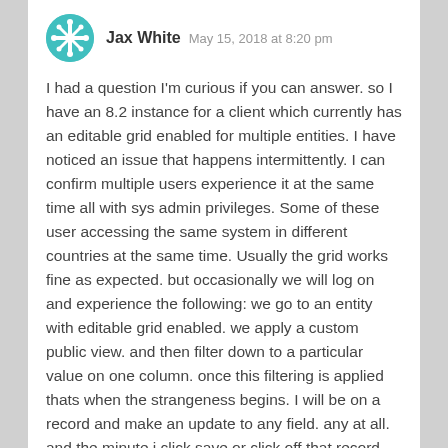Jax White  May 15, 2018 at 8:20 pm
I had a question I'm curious if you can answer. so I have an 8.2 instance for a client which currently has an editable grid enabled for multiple entities. I have noticed an issue that happens intermittently. I can confirm multiple users experience it at the same time all with sys admin privileges. Some of these user accessing the same system in different countries at the same time. Usually the grid works fine as expected. but occasionally we will log on and experience the following: we go to an entity with editable grid enabled. we apply a custom public view. and then filter down to a particular value on one column. once this filtering is applied thats when the strangeness begins. I will be on a record and make an update to any field. any at all. and the minute i click save or click off that record onto another. all my records dissapear! not in a deleted sense but rather a visibility issue. I can rectify this by refreshing the editable grid with